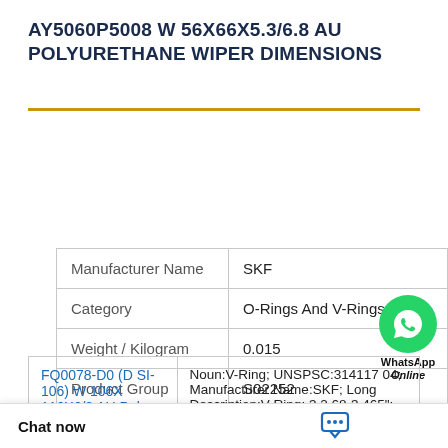AY5060P5008 W 56X66X5.3/6.8 AU POLYURETHANE WIPER DIMENSIONS
| Manufacturer Name | SKF |
| --- | --- |
| Category | O-Rings And V-Rings |
| Weight / Kilogram | 0.015 |
| Product Group | S02252 |
| FQ0078-D0 (D SI-106) W 106X 116X6/8 AU Pol | Noun:V-Ring; UNSPSC:31411704; Manufacturer Name:SKF; Long Description:V-Ring; 3.268-3.465"; Product Detail:V-ct Specification:V--3.465"; Categor |
Chat now